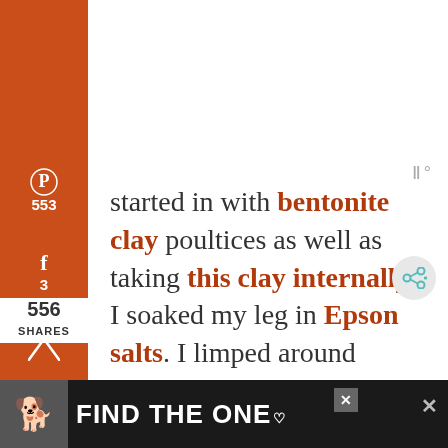[Figure (other): Social media sharing sidebar with Pinterest (553), Facebook (3), Twitter, Yahoo, Email, and Print icons on orange background]
started in with bentonite clay poultices as well as taking this clay internally. I soaked my leg in Epson salts. I limped around feeling worse and worse. I knew that things weren't looking good but I kept trying to get the
556 SHARES
[Figure (other): Advertisement banner: Find The One with dog photo]